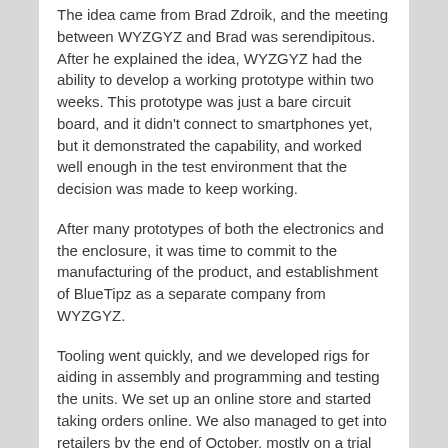The idea came from Brad Zdroik, and the meeting between WYZGYZ and Brad was serendipitous. After he explained the idea, WYZGYZ had the ability to develop a working prototype within two weeks. This prototype was just a bare circuit board, and it didn't connect to smartphones yet, but it demonstrated the capability, and worked well enough in the test environment that the decision was made to keep working.
After many prototypes of both the electronics and the enclosure, it was time to commit to the manufacturing of the product, and establishment of BlueTipz as a separate company from WYZGYZ.
Tooling went quickly, and we developed rigs for aiding in assembly and programming and testing the units. We set up an online store and started taking orders online. We also managed to get into retailers by the end of October, mostly on a trial basis because we were a new product.
The entire product development cycle of idea to shelves took less than 6 months for a startup company.